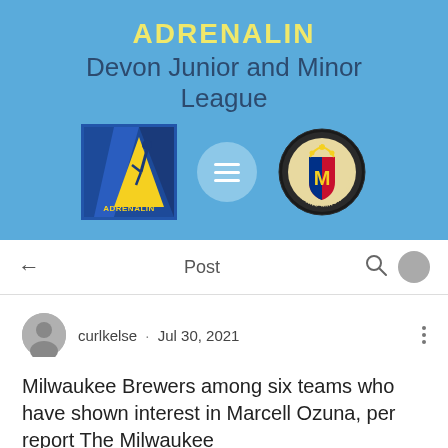ADRENALIN
Devon Junior and Minor League
[Figure (logo): Adrenalin logo (yellow figure on blue background) and Devon Junior and Minor League badge, with hamburger menu circle in between]
← Post
curlkelse · Jul 30, 2021
Milwaukee Brewers among six teams who have shown interest in Marcell Ozuna, per report The Milwaukee
Brewers have stayed mostly on the sidelines in terms of transactions this offseason, with their splashiest move coming in the form of a $900K, non-guaranteed one-year deal given to infielder Daniel Robertson. The front office has